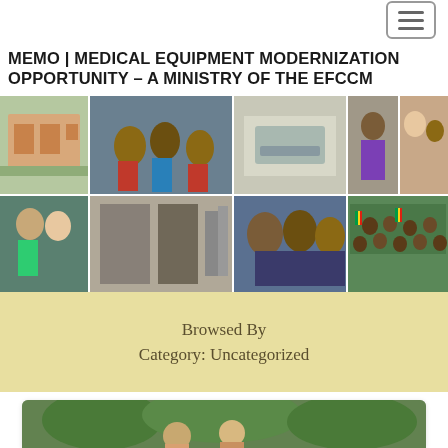[Figure (other): Hamburger/menu icon button in top right corner]
MEMO | MEDICAL EQUIPMENT MODERNIZATION OPPORTUNITY – A MINISTRY OF THE EFCCM
[Figure (photo): Collage of photos showing children praying, medical equipment, hospital building, healthcare workers, and groups of children with flags]
Browsed By
Category: Uncategorized
[Figure (photo): Two people photographed outdoors with green trees in background]